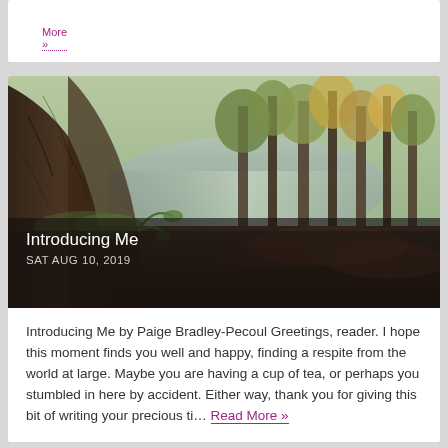More »
[Figure (photo): Forest scene with a large tree trunk in the foreground, trees and a misty lake or pond visible in the background, autumn foliage]
Introducing Me
SAT AUG 10, 2019
Introducing Me by Paige Bradley-Pecoul Greetings, reader. I hope this moment finds you well and happy, finding a respite from the world at large. Maybe you are having a cup of tea, or perhaps you stumbled in here by accident. Either way, thank you for giving this bit of writing your precious ti… Read More »